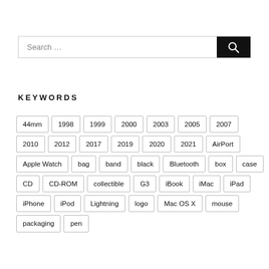[Figure (other): Search bar with text 'Search …' and a black magnifying glass button]
KEYWORDS
44mm
1998
1999
2000
2003
2005
2007
2010
2012
2017
2019
2020
2021
AirPort
Apple Watch
bag
band
black
Bluetooth
box
case
CD
CD-ROM
collectible
G3
iBook
iMac
iPad
iPhone
iPod
Lightning
logo
Mac OS X
mouse
packaging
pen